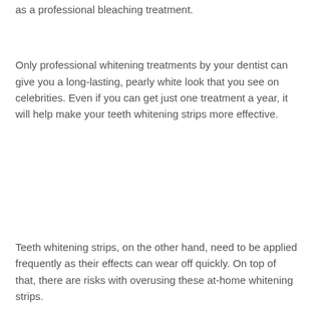as a professional bleaching treatment.
Only professional whitening treatments by your dentist can give you a long-lasting, pearly white look that you see on celebrities. Even if you can get just one treatment a year, it will help make your teeth whitening strips more effective.
Teeth whitening strips, on the other hand, need to be applied frequently as their effects can wear off quickly. On top of that, there are risks with overusing these at-home whitening strips.